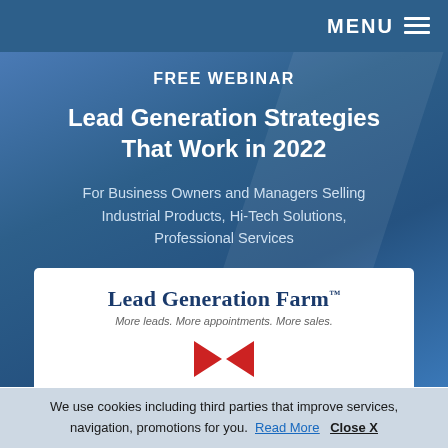MENU ≡
FREE WEBINAR
Lead Generation Strategies That Work in 2022
For Business Owners and Managers Selling Industrial Products, Hi-Tech Solutions, Professional Services
[Figure (logo): Lead Generation Farm™ logo with tagline 'More leads. More appointments. More sales.' and red arrow icon below]
We use cookies including third parties that improve services, navigation, promotions for you. Read More   Close X